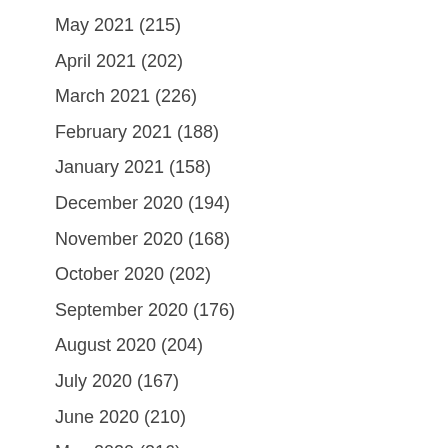May 2021 (215)
April 2021 (202)
March 2021 (226)
February 2021 (188)
January 2021 (158)
December 2020 (194)
November 2020 (168)
October 2020 (202)
September 2020 (176)
August 2020 (204)
July 2020 (167)
June 2020 (210)
May 2020 (216)